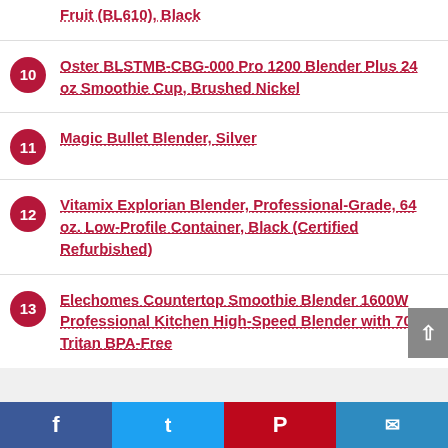Fruit (BL610), Black
10 Oster BLSTMB-CBG-000 Pro 1200 Blender Plus 24 oz Smoothie Cup, Brushed Nickel
11 Magic Bullet Blender, Silver
12 Vitamix Explorian Blender, Professional-Grade, 64 oz. Low-Profile Container, Black (Certified Refurbished)
13 Elechomes Countertop Smoothie Blender 1600W Professional Kitchen High-Speed Blender with 70oz Tritan BPA-Free
Facebook Twitter Pinterest Email